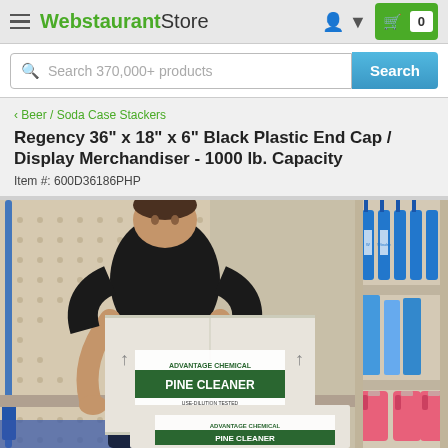WebstaurantStore
Search 370,000+ products
< Beer / Soda Case Stackers
Regency 36" x 18" x 6" Black Plastic End Cap / Display Merchandiser - 1000 lb. Capacity
Item #: 600D36186PHP
[Figure (photo): A man in a black shirt and jeans placing a large cardboard box labeled 'Pine Cleaner' onto a shelf display unit. The shelf is a pegboard-style display with various cleaning products visible, including bottles of Windex and jugs of pink liquid. The setting appears to be a store or warehouse.]